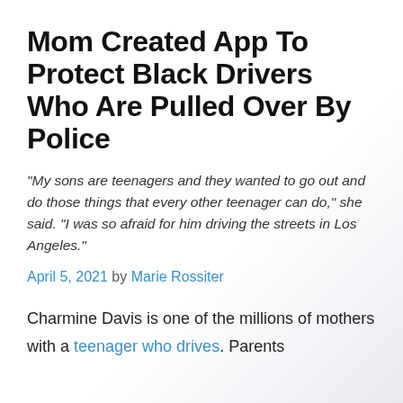Mom Created App To Protect Black Drivers Who Are Pulled Over By Police
"My sons are teenagers and they wanted to go out and do those things that every other teenager can do," she said. "I was so afraid for him driving the streets in Los Angeles."
April 5, 2021 by Marie Rossiter
Charmine Davis is one of the millions of mothers with a teenager who drives. Parents